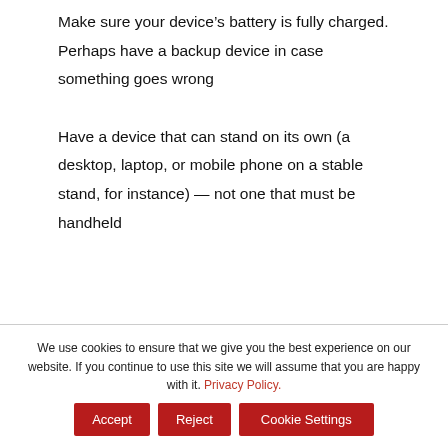Make sure your device's battery is fully charged. Perhaps have a backup device in case something goes wrong
Have a device that can stand on its own (a desktop, laptop, or mobile phone on a stable stand, for instance) — not one that must be handheld
We use cookies to ensure that we give you the best experience on our website. If you continue to use this site we will assume that you are happy with it. Privacy Policy.